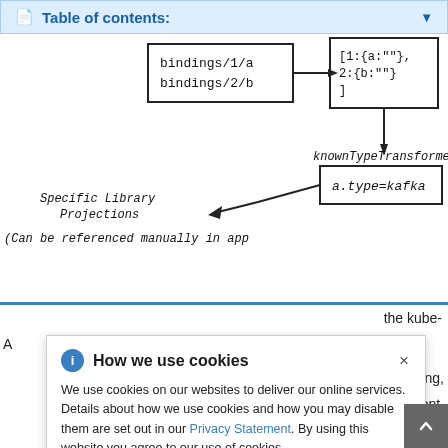Table of contents:
[Figure (schematic): Engineering diagram showing bindings/1/a and bindings/2/b mapping via arrow to [1:{a:''}, 2:{b:''} ], then an arrow down to knownTypeTransformer, then to a box labeled a.type=kafka, with label 'Specific Library Projections (Can be referenced manually in app']
the kube-
How we use cookies
We use cookies on our websites to deliver our online services. Details about how we use cookies and how you may disable them are set out in our Privacy Statement. By using this website you agree to our use of cookies.
t it is using, fka client. s this:
const serviceBindings = require( kube-service-bindings );